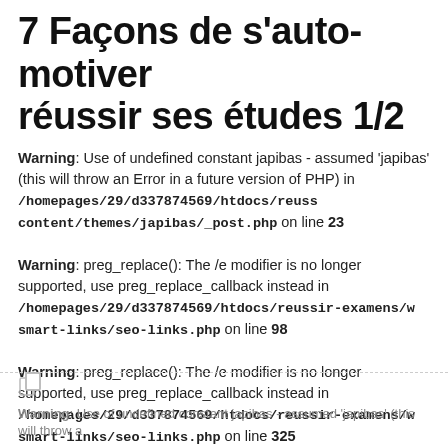7 Façons de s'auto-motiver réussir ses études 1/2
Warning: Use of undefined constant japibas - assumed 'japibas' (this will throw an Error in a future version of PHP) in /homepages/29/d337874569/htdocs/reussir-examens/wp-content/themes/japibas/_post.php on line 23
Warning: preg_replace(): The /e modifier is no longer supported, use preg_replace_callback instead in /homepages/29/d337874569/htdocs/reussir-examens/wp-content/plugins/smart-links/seo-links.php on line 98
Warning: preg_replace(): The /e modifier is no longer supported, use preg_replace_callback instead in /homepages/29/d337874569/htdocs/reussir-examens/wp-content/plugins/smart-links/seo-links.php on line 325
Warning: Use of undefined constant japibas - assumed 'japibas' (this will throw a...